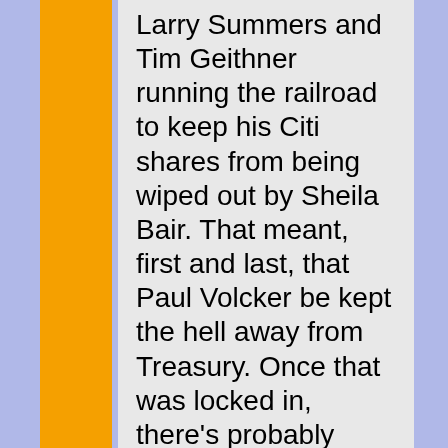Larry Summers and Tim Geithner running the railroad to keep his Citi shares from being wiped out by Sheila Bair. That meant, first and last, that Paul Volcker be kept the hell away from Treasury. Once that was locked in, there’s probably nothing Obama could have done after that to save his Administration.